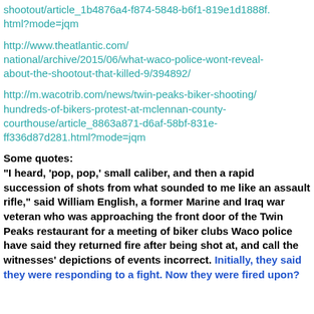shootout/article_1b4876a4-f874-5848-b6f1-819e1d1888f.html?mode=jqm
http://www.theatlantic.com/national/archive/2015/06/what-waco-police-wont-reveal-about-the-shootout-that-killed-9/394892/
http://m.wacotrib.com/news/twin-peaks-biker-shooting/hundreds-of-bikers-protest-at-mclennan-county-courthouse/article_8863a871-d6af-58bf-831e-ff336d87d281.html?mode=jqm
Some quotes:
"I heard, 'pop, pop,' small caliber, and then a rapid succession of shots from what sounded to me like an assault rifle," said William English, a former Marine and Iraq war veteran who was approaching the front door of the Twin Peaks restaurant for a meeting of biker clubs Waco police have said they returned fire after being shot at, and call the witnesses' depictions of events incorrect. Initially, they said they were responding to a fight. Now they were fired upon?